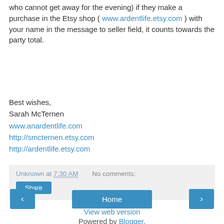who cannot get away for the evening) if they make a purchase in the Etsy shop ( www.ardentlife.etsy.com ) with your name in the message to seller field, it counts towards the party total.
Best wishes,
Sarah McTernen
www.anardentlife.com
http://smcternen.etsy.com
http://ardentlife.etsy.com
Unknown at 7:30 AM   No comments:
Share
Home
View web version
Powered by Blogger.